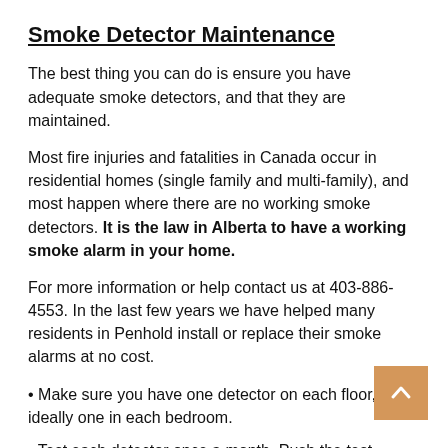Smoke Detector Maintenance
The best thing you can do is ensure you have adequate smoke detectors, and that they are maintained.
Most fire injuries and fatalities in Canada occur in residential homes (single family and multi-family), and most happen where there are no working smoke detectors. It is the law in Alberta to have a working smoke alarm in your home.
For more information or help contact us at 403-886-4553. In the last few years we have helped many residents in Penhold install or replace their smoke alarms at no cost.
• Make sure you have one detector on each floor, and ideally one in each bedroom.
• Test each detector once a month. Push the test